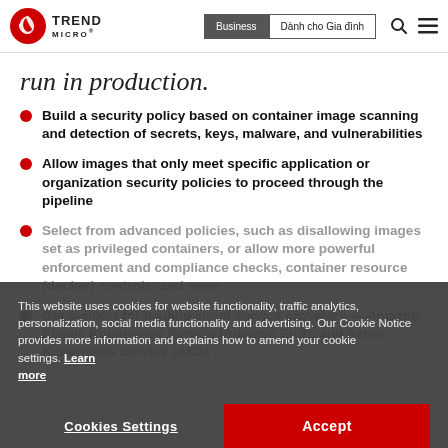Trend Micro — Business | Dành cho Gia đình
run in production.
Build a security policy based on container image scanning and detection of secrets, keys, malware, and vulnerabilities
Allow images that only meet specific application or organization security policies to proceed through the pipeline
Select from advanced policies, such as disallowing images set as privileged containers, or allow more powerful enforcement and compliance checks, container resource (docker) controls, and more
Get support for leading cloud service providers — Amazon Elastic Kubernetes Service (Amazon EKS), and Azure Kubernetes Service (AKS)
This website uses cookies for website functionality, traffic analytics, personalization, social media functionality and advertising. Our Cookie Notice provides more information and explains how to amend your cookie settings. Learn more
Cookies Settings | Accept